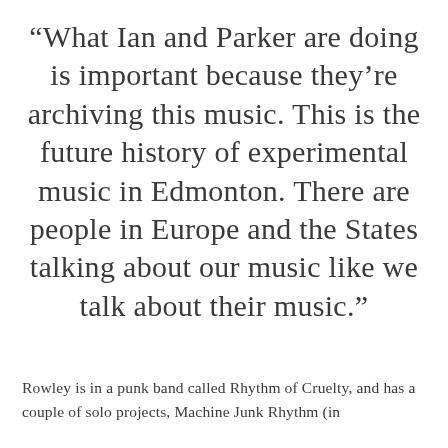“What Ian and Parker are doing is important because they’re archiving this music. This is the future history of experimental music in Edmonton. There are people in Europe and the States talking about our music like we talk about their music.”
Rowley is in a punk band called Rhythm of Cruelty, and has a couple of solo projects, Machine Junk Rhythm (in